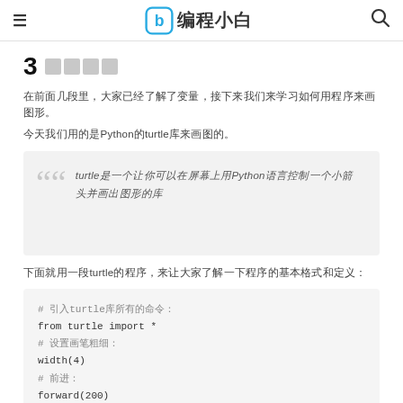≡  编程小白  🔍
3  ████
在前面几段里，大家已经了解了变量，接下来我们来学习如何用程序来画图形。
今天我们用的是Python的turtle库来画图的。
turtle是一个让你可以在屏幕上用Python语言控制一个小箭头并画出图形的库
下面就用一段turtle的程序，来让大家了解一下程序的基本格式和定义：
# 引入turtle库所有的命令：
from turtle import *
# 设置画笔粗细：
width(4)
# 前进：
forward(200)
# 右转90度：